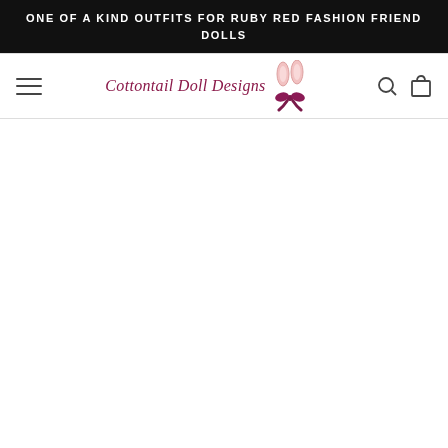ONE OF A KIND OUTFITS FOR RUBY RED FASHION FRIEND DOLLS
[Figure (logo): Cottontail Doll Designs logo with bunny ears and bow ribbon graphic]